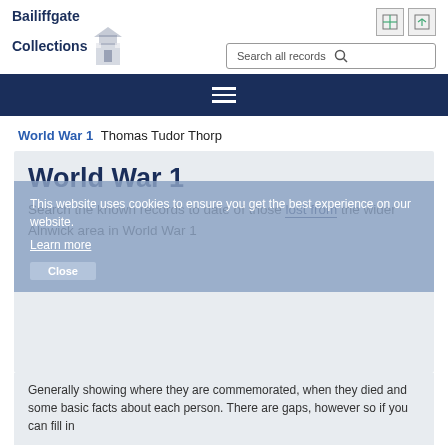Bailiffgate Collections — Search all records header with logo and icons
[Figure (logo): Bailiffgate Collections logo with building illustration and bold navy text]
World War 1 Thomas Tudor Thorp
World War 1
This website uses cookies to ensure you get the best experience on our website.
Search the known records to date of those lost from the wider Alnwick area in World War 1
Generally showing where they are commemorated, when they died and some basic facts about each person. There are gaps, however so if you can fill in